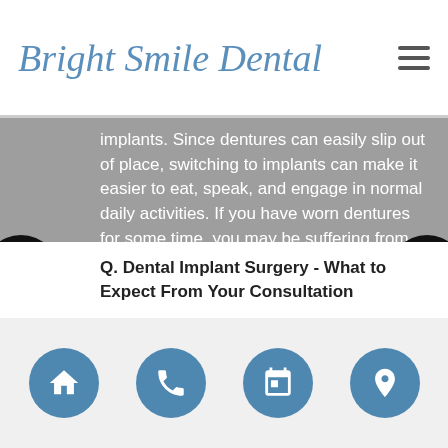Bright Smile Dental
implants. Since dentures can easily slip out of place, switching to implants can make it easier to eat, speak, and engage in normal daily activities. If you have worn dentures for some time, you may be suffering from resorption. If this is the case, your jawbone may not have sufficient density to support an implant. When this happens, we may recommend a bone graft prior to beginning. To discuss this further, call 847-993-8023 and schedule an examination. After physically examining your teeth and taking X-rays, we can create a full treatment plan for you.
Q. Dental Implant Surgery - What to Expect From Your Consultation